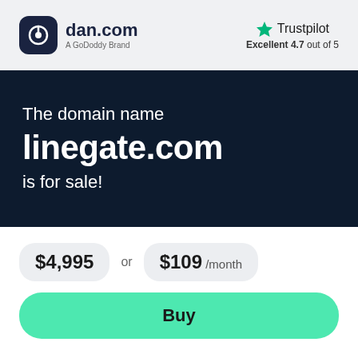[Figure (logo): dan.com logo with dark rounded square icon and text 'dan.com', subtitle 'A GoDoddy Brand']
[Figure (logo): Trustpilot logo with green star and text 'Trustpilot', below 'Excellent 4.7 out of 5']
The domain name linegate.com is for sale!
$4,995 or $109 /month
Buy